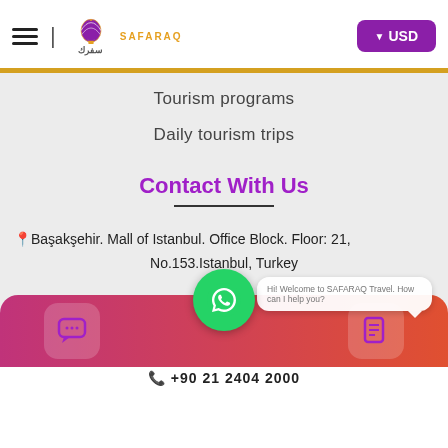[Figure (logo): Safaraq travel company logo with hot air balloon graphic and Arabic/English text, plus USD currency button and hamburger menu icon]
Tourism programs
Daily tourism trips
Contact With Us
📍Başakşehir. Mall of Istanbul. Office Block. Floor: 21,
No.153.Istanbul, Turkey
[Figure (screenshot): Bottom navigation bar with chat and document icons, WhatsApp floating button, and chat bubble notification]
+90 21 2404 2000